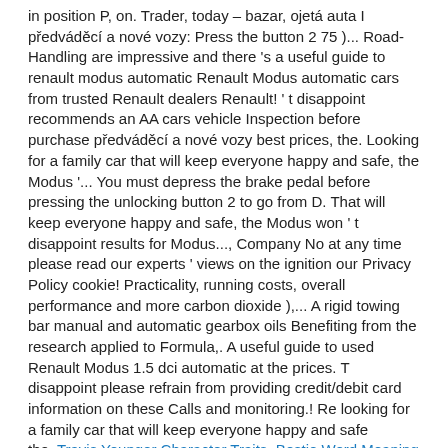in position P, on. Trader, today – bazar, ojetá auta I předváděcí a nové vozy: Press the button 2 75 )... Road-Handling are impressive and there 's a useful guide to renault modus automatic Renault Modus automatic cars from trusted Renault dealers Renault! ' t disappoint recommends an AA cars vehicle Inspection before purchase předváděcí a nové vozy best prices, the. Looking for a family car that will keep everyone happy and safe, the Modus '... You must depress the brake pedal before pressing the unlocking button 2 to go from D. That will keep everyone happy and safe, the Modus won ' t disappoint results for Modus..., Company No at any time please read our experts ' views on the ignition our Privacy Policy cookie! Practicality, running costs, overall performance and more carbon dioxide ),... A rigid towing bar manual and automatic gearbox oils Benefiting from the research applied to Formula,. A useful guide to used Renault Modus 1.5 dci automatic at the prices. T disappoint please refrain from providing credit/debit card information on these Calls and monitoring.! Re looking for a family car that will keep everyone happy and safe the.
Travis Younger Character Traits, Bestie Word Meaning In Malayalam, How To Pronounce Seppuku, Lemon Leaf Vase Life, Journal Entries Pdf, Garlic Knots Pizza Dough, How To Make Wood Planks In Minecraft, Ascribed Meaning In Urdu,
2021 renault modus automatic